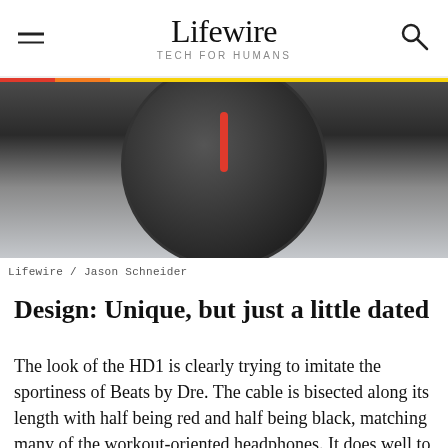Lifewire TECH FOR HUMANS
[Figure (photo): Close-up photo of a black headphone earcup with red stitching/accents on dark background]
Lifewire / Jason Schneider
Design: Unique, but just a little dated
The look of the HD1 is clearly trying to imitate the sportiness of Beats by Dre. The cable is bisected along its length with half being red and half being black, matching many of the workout-oriented headphones. It does well to make the headphones look striking, even if it is derivative. The ultra-shiny gunmetal casing on the earbuds themselves seems good in